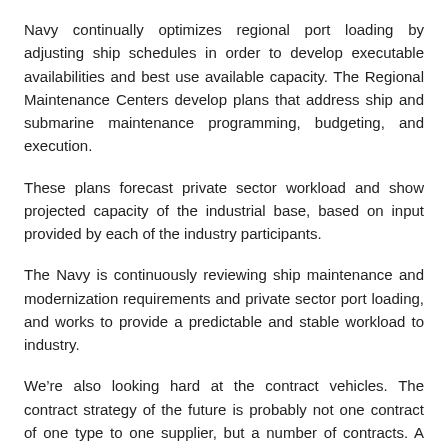Navy continually optimizes regional port loading by adjusting ship schedules in order to develop executable availabilities and best use available capacity. The Regional Maintenance Centers develop plans that address ship and submarine maintenance programming, budgeting, and execution.
These plans forecast private sector workload and show projected capacity of the industrial base, based on input provided by each of the industry participants.
The Navy is continuously reviewing ship maintenance and modernization requirements and private sector port loading, and works to provide a predictable and stable workload to industry.
We're also looking hard at the contract vehicles. The contract strategy of the future is probably not one contract of one type to one supplier, but a number of contracts. A prime contractor build, a price challenge to look at new technology, a Digital Twin to evaluate it — all of those things will play into allowing us to get more credibility in our delivery programs out of the gate.